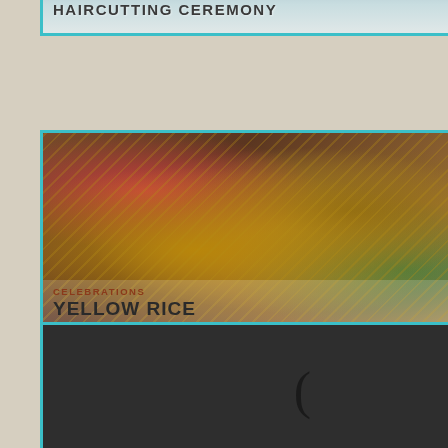[Figure (photo): Card with photo showing haircutting ceremony. Text overlay reads 'HAIRCUTTING CEREMONY' in dark bold uppercase letters on a light background.]
[Figure (photo): Card with colorful photo of a yellow rice mound decorated with bamboo sticks and colorful ribbons/tassels for a traditional celebration. Text overlay at bottom reads 'CELEBRATIONS' in small brown uppercase letters and 'YELLOW RICE' in large dark bold uppercase letters.]
[Figure (photo): Card with dark background photo showing a dark curved symbol or parenthesis shape at the bottom. Partially visible, cut off at bottom of page.]